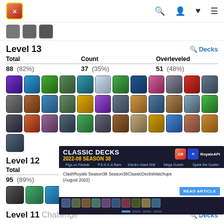RoyaleAPI navigation header with logo, search, profile, favorites, and menu icons
Level 13 — Decks
| Total | Count | Overleveled |
| --- | --- | --- |
| 88 (82%) | 37 (35%) | 51 (48%) |
[Figure (other): Grid of 37 Clash Royale card icons at Level 13 — 3 rows of 12 cards plus 1 extra card]
Level 12
| Total | Count |
| --- | --- |
| 95 (89%) | 7 (7%) |
[Figure (other): Row of Clash Royale card icons at Level 12]
[Figure (screenshot): Popup overlay: CLASSIC DECKS 2022-08 SEASON 38 — ClashRoyale Season38 Season38ClassicDecksMatchups (August 2022) with READ ARTICLE button]
Level 11 Challenge — Decks